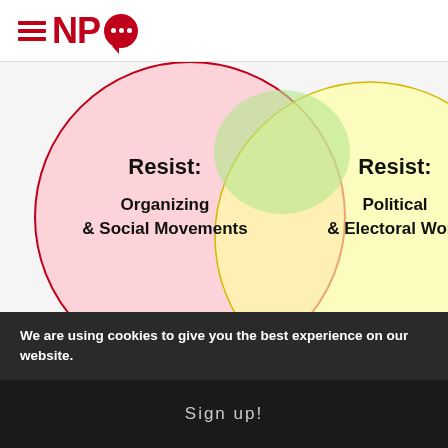NPQ
[Figure (other): Venn diagram showing overlapping circles. Left circle (pink/red outline): 'Resist: Organizing & Social Movements'. Right circle (yellow): 'Resist: Political & Electoral Work'. Top center overlap area is green. The circles partially overlap showing intersection areas.]
The SE movement uses the metaphor of the butterfly to represent the transformation of racist patriarchal ecology-destroying capitalism into the solidarity economy. When a caterpillar makes its cocoon, it starts to form imaginal cells, each with the potential to
We are using cookies to give you the best experience on our website.
Sign up!